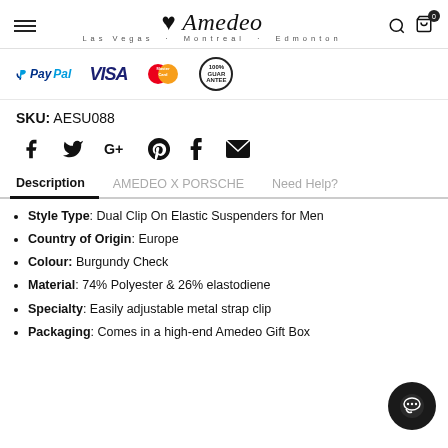Amedeo Las Vegas · Montreal · Edmonton
[Figure (logo): Payment logos: PayPal, VISA, MasterCard, 100% Guarantee badge]
SKU: AESU088
[Figure (infographic): Social media share icons: Facebook, Twitter, Google+, Pinterest, Tumblr, Email]
Description | AMEDEO X PORSCHE | Need Help?
Style Type: Dual Clip On Elastic Suspenders for Men
Country of Origin: Europe
Colour: Burgundy Check
Material: 74% Polyester & 26% elastodiene
Specialty: Easily adjustable metal strap clip
Packaging: Comes in a high-end Amedeo Gift Box